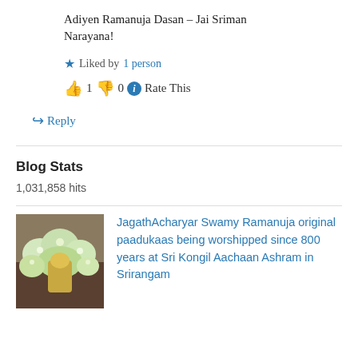Adiyen Ramanuja Dasan – Jai Sriman Narayana!
★ Liked by 1 person
👍 1 👎 0 ℹ Rate This
↪ Reply
Blog Stats
1,031,858 hits
[Figure (photo): A decorative image showing an arrangement with flowers or ornamental items, likely related to a shrine or religious setting.]
JagathAcharyar Swamy Ramanuja original paadukaas being worshipped since 800 years at Sri Kongil Aachaan Ashram in Srirangam